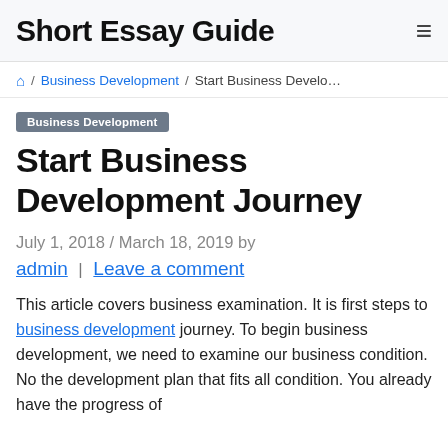Short Essay Guide
🏠 / Business Development / Start Business Develo…
Business Development
Start Business Development Journey
July 1, 2018 / March 18, 2019 by admin | Leave a comment
This article covers business examination. It is first steps to business development journey. To begin business development, we need to examine our business condition. No the development plan that fits all condition. You already have the progress of